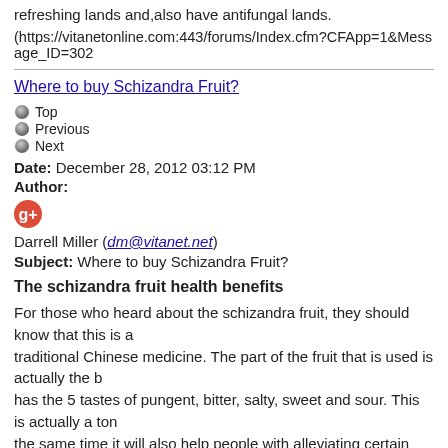refreshing lands and,also have antifungal lands.
(https://vitanetonline.com:443/forums/Index.cfm?CFApp=1&Message_ID=302
Where to buy Schizandra Fruit?
Top
Previous
Next
Date: December 28, 2012 03:12 PM
Author:
Darrell Miller (dm@vitanet.net)
Subject: Where to buy Schizandra Fruit?
The schizandra fruit health benefits
For those who heard about the schizandra fruit, they should know that this is a traditional Chinese medicine. The part of the fruit that is used is actually the b... has the 5 tastes of pungent, bitter, salty, sweet and sour. This is actually a ton... the same time it will also help people with alleviating certain health problems.
Health benefits: Addresses Liver Complaints
Many herbalists consider this fruit to be hepato-protective, which means that i...